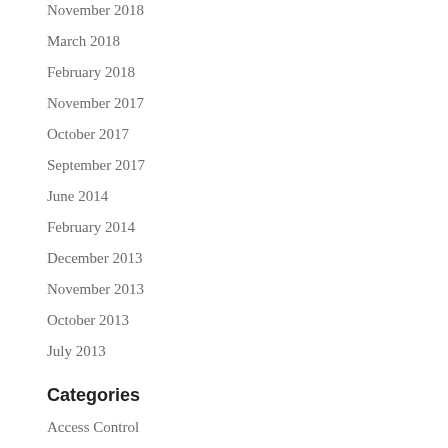November 2018
March 2018
February 2018
November 2017
October 2017
September 2017
June 2014
February 2014
December 2013
November 2013
October 2013
July 2013
Categories
Access Control
attorney office doors